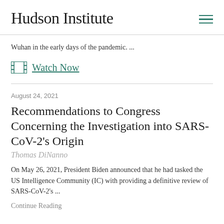Hudson Institute
Wuhan in the early days of the pandemic. ...
Watch Now
August 24, 2021
Recommendations to Congress Concerning the Investigation into SARS-CoV-2's Origin
Thomas DiNanno
On May 26, 2021, President Biden announced that he had tasked the US Intelligence Community (IC) with providing a definitive review of SARS-CoV-2's ...
Continue Reading